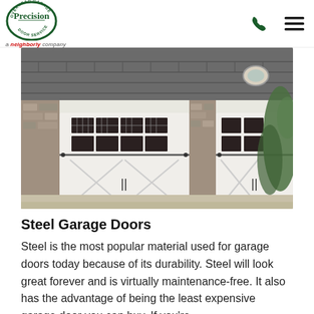Precision Door Service — a neighborly company
[Figure (photo): Two white carriage-style steel garage doors with dark window grilles on a stone-sided house exterior with ivy-covered wall.]
Steel Garage Doors
Steel is the most popular material used for garage doors today because of its durability. Steel will look great forever and is virtually maintenance-free. It also has the advantage of being the least expensive garage door you can buy. If you're